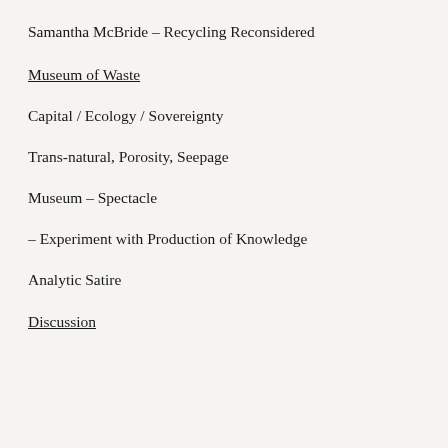Samantha McBride – Recycling Reconsidered
Museum of Waste
Capital / Ecology / Sovereignty
Trans-natural, Porosity, Seepage
Museum – Spectacle
– Experiment with Production of Knowledge
Analytic Satire
Discussion